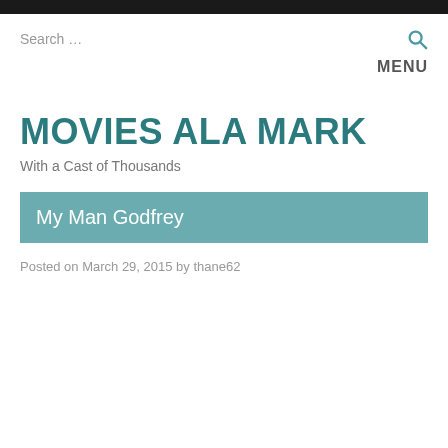Search …
MENU
MOVIES ALA MARK
With a Cast of Thousands
My Man Godfrey
Posted on March 29, 2015 by thane62